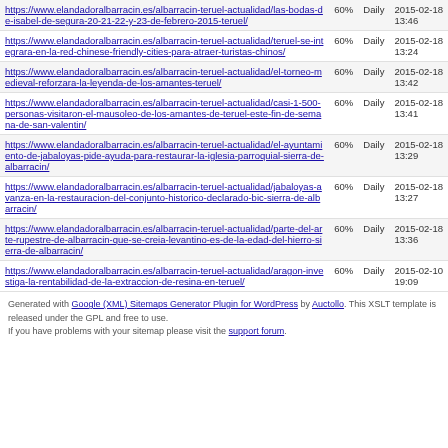| URL | Priority | Change Freq | LastMod |
| --- | --- | --- | --- |
| https://www.elandadoralbarracin.es/albarracin-teruel-actualidad/las-bodas-de-isabel-de-segura-20-21-22-y-23-de-febrero-2015-teruel/ | 60% | Daily | 2015-02-18 13:46 |
| https://www.elandadoralbarracin.es/albarracin-teruel-actualidad/teruel-se-integrara-en-la-red-chinese-friendly-cities-para-atraer-turistas-chinos/ | 60% | Daily | 2015-02-18 13:24 |
| https://www.elandadoralbarracin.es/albarracin-teruel-actualidad/el-torneo-medieval-reforzara-la-leyenda-de-los-amantes-teruel/ | 60% | Daily | 2015-02-18 13:42 |
| https://www.elandadoralbarracin.es/albarracin-teruel-actualidad/casi-1-500-personas-visitaron-el-mausoleo-de-los-amantes-de-teruel-este-fin-de-semana-de-san-valentin/ | 60% | Daily | 2015-02-18 13:41 |
| https://www.elandadoralbarracin.es/albarracin-teruel-actualidad/el-ayuntamiento-de-jabaloyas-pide-ayuda-para-restaurar-la-iglesia-parroquial-sierra-de-albarracin/ | 60% | Daily | 2015-02-18 13:29 |
| https://www.elandadoralbarracin.es/albarracin-teruel-actualidad/jabaloyas-avanza-en-la-restauracion-del-conjunto-historico-declarado-bic-sierra-de-albarracin/ | 60% | Daily | 2015-02-18 13:27 |
| https://www.elandadoralbarracin.es/albarracin-teruel-actualidad/parte-del-arte-rupestre-de-albarracin-que-se-creia-levantino-es-de-la-edad-del-hierro-sierra-de-albarracin/ | 60% | Daily | 2015-02-18 13:36 |
| https://www.elandadoralbarracin.es/albarracin-teruel-actualidad/aragon-investiga-la-rentabilidad-de-la-extraccion-de-resina-en-teruel/ | 60% | Daily | 2015-02-10 19:09 |
Generated with Google (XML) Sitemaps Generator Plugin for WordPress by Auctollo. This XSLT template is released under the GPL and free to use. If you have problems with your sitemap please visit the support forum.